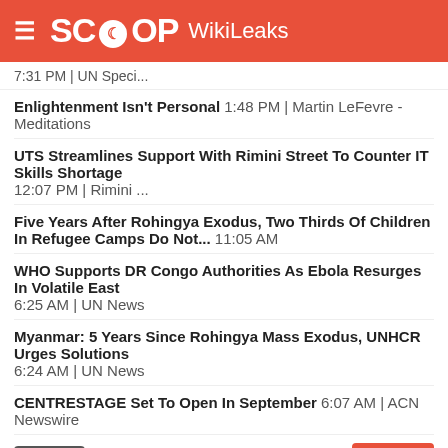SCOOP WikiLeaks
7:31 PM | UN Speci...
Enlightenment Isn't Personal 1:48 PM | Martin LeFevre - Meditations
UTS Streamlines Support With Rimini Street To Counter IT Skills Shortage 12:07 PM | Rimini ...
Five Years After Rohingya Exodus, Two Thirds Of Children In Refugee Camps Do Not... 11:05 AM
WHO Supports DR Congo Authorities As Ebola Resurges In Volatile East 6:25 AM | UN News
Myanmar: 5 Years Since Rohingya Mass Exodus, UNHCR Urges Solutions 6:24 AM | UN News
CENTRESTAGE Set To Open In September 6:07 AM | ACN Newswire
RSS | More
Pacific.Scoop | Cafe Pacific | PMC
Fifty Seven Graduate From Wing 357 5:23 PM | admin
Rain Damage To Top Of The South Island Tracks 11:39 AM | admin